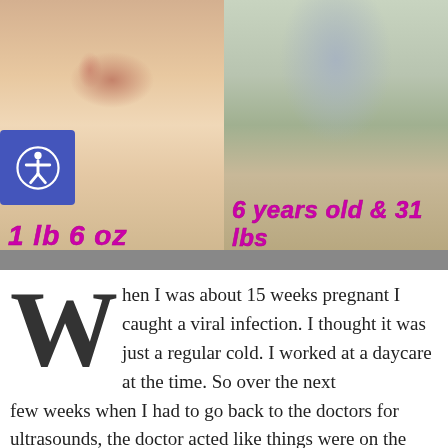[Figure (photo): Two-photo collage: left photo shows a premature newborn baby in a NICU with medical equipment/wires, labeled '1 lb 6 oz' in pink italic text; right photo shows a young girl standing wearing a gray shirt that reads 'PREEMIE WARRIOR' in pink, labeled '6 years old & 31 lbs' in pink italic text. An accessibility button icon is overlaid on the left side.]
When I was about 15 weeks pregnant I caught a viral infection. I thought it was just a regular cold. I worked at a daycare at the time. So over the next few weeks when I had to go back to the doctors for ultrasounds, the doctor acted like things were on the right track. But I wasn't growing much of a belly by 18 weeks. My mom thought maybe it was because she was